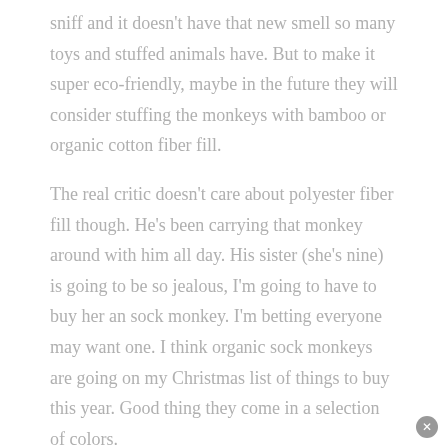sniff and it doesn't have that new smell so many toys and stuffed animals have. But to make it super eco-friendly, maybe in the future they will consider stuffing the monkeys with bamboo or organic cotton fiber fill.
The real critic doesn't care about polyester fiber fill though. He's been carrying that monkey around with him all day. His sister (she's nine) is going to be so jealous, I'm going to have to buy her an sock monkey. I'm betting everyone may want one. I think organic sock monkeys are going on my Christmas list of things to buy this year. Good thing they come in a selection of colors.
Eco Monkeys Eco Friendly Fashion and O...